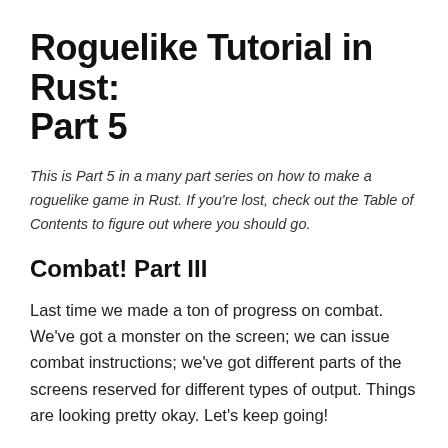Roguelike Tutorial in Rust: Part 5
This is Part 5 in a many part series on how to make a roguelike game in Rust. If you're lost, check out the Table of Contents to figure out where you should go.
Combat! Part III
Last time we made a ton of progress on combat. We've got a monster on the screen; we can issue combat instructions; we've got different parts of the screens reserved for different types of output. Things are looking pretty okay. Let's keep going!
Refactoring